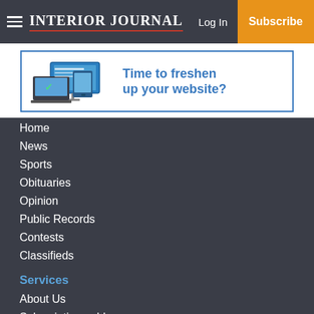Interior Journal — Log In | Subscribe
[Figure (screenshot): Advertisement banner: laptop/tablet devices image with text 'Time to freshen up your website?' in blue, bordered in blue]
Home
News
Sports
Obituaries
Opinion
Public Records
Contests
Classifieds
Services
About Us
Subscriptions-old
Policies
Submit a News Tip
Submit a Photo
Submit a Sports Story
Letters to Editor